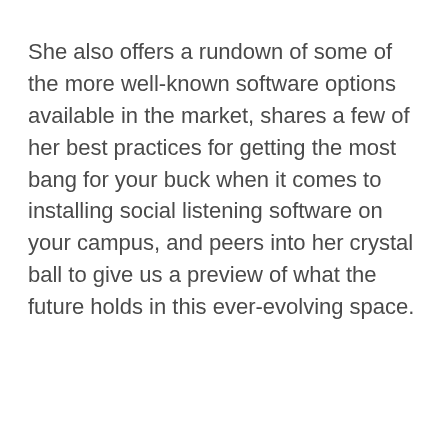She also offers a rundown of some of the more well-known software options available in the market, shares a few of her best practices for getting the most bang for your buck when it comes to installing social listening software on your campus, and peers into her crystal ball to give us a preview of what the future holds in this ever-evolving space.